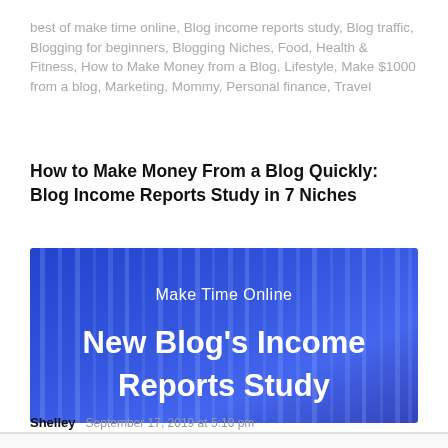best of make time online, Blog income reports study, Blog traffic, Blogging for beginners, Blogging Niches, Food, Health & Fitness, How to Make Money from a Blog, Lifestyle, Make $1000 from a blog, Marketing, Mommy, Personal finance, Travel
How to Make Money From a Blog Quickly: Blog Income Reports Study in 7 Niches
[Figure (illustration): Blue gradient banner image with vertical stripe texture. Text reads 'Make Time Online' at top and 'New Blog's Income Reports Study' in large bold white text below.]
Shelley    September 17, 2019 at 5:10 pm